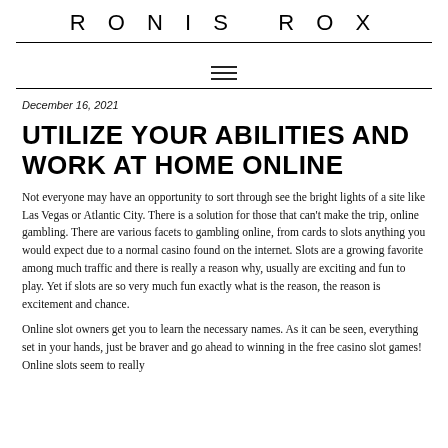RONIS ROX
December 16, 2021
UTILIZE YOUR ABILITIES AND WORK AT HOME ONLINE
Not everyone may have an opportunity to sort through see the bright lights of a site like Las Vegas or Atlantic City. There is a solution for those that can't make the trip, online gambling. There are various facets to gambling online, from cards to slots anything you would expect due to a normal casino found on the internet. Slots are a growing favorite among much traffic and there is really a reason why, usually are exciting and fun to play. Yet if slots are so very much fun exactly what is the reason, the reason is excitement and chance.
Online slot owners get you to learn the necessary names. As it can be seen, everything set in your hands, just be braver and go ahead to winning in the free casino slot games! Online slots seem to really...